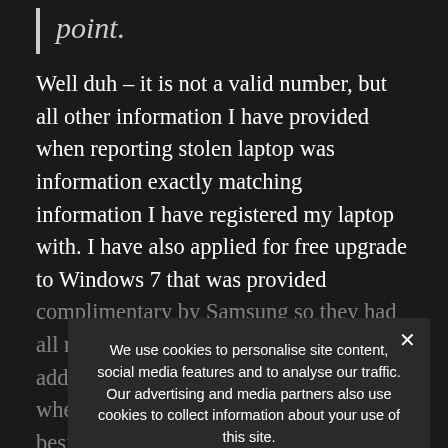point.
Well duh – it is not a valid number, but all other information I have provided when reporting stolen laptop was information exactly matching information I have registered my laptop with. I have also applied for free upgrade to Windows 7 that was provided complimentary by Samsung so they had all my information on file – my name, address, postal code, phone number, where I purchased and where I live, besides that there is my email address, etc. Samsung has all this info on file yet their re[presentative] couldn't verify it. At the time of reporting I had the receipt issued by the Future Shop which listed the item
We use cookies to personalise site content, social media features and to analyse our traffic. Our advertising and media partners also use cookies to collect information about your use of this site.
Privacy Preferences
I Agree